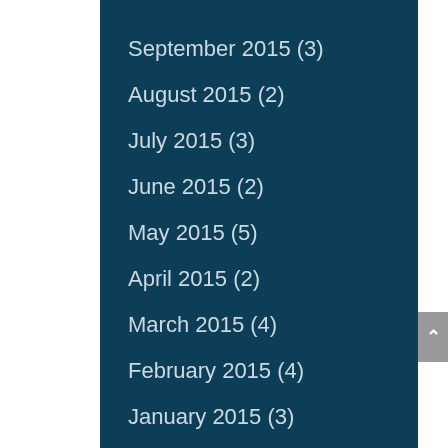September 2015 (3)
August 2015 (2)
July 2015 (3)
June 2015 (2)
May 2015 (5)
April 2015 (2)
March 2015 (4)
February 2015 (4)
January 2015 (3)
December 2014 (5)
November 2014 (2)
October 2014 (5)